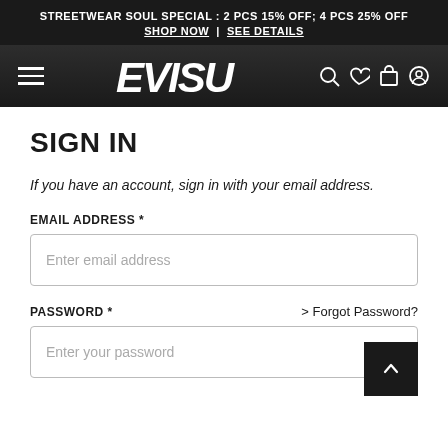STREETWEAR SOUL SPECIAL : 2 PCS 15% OFF; 4 PCS 25% OFF SHOP NOW | SEE DETAILS
[Figure (logo): EVISU brand logo in white italic bold text on dark gradient navigation bar with hamburger menu icon on left and search, heart, bag, account icons on right]
SIGN IN
If you have an account, sign in with your email address.
EMAIL ADDRESS *
Enter email address
PASSWORD *
> Forgot Password?
Enter your password